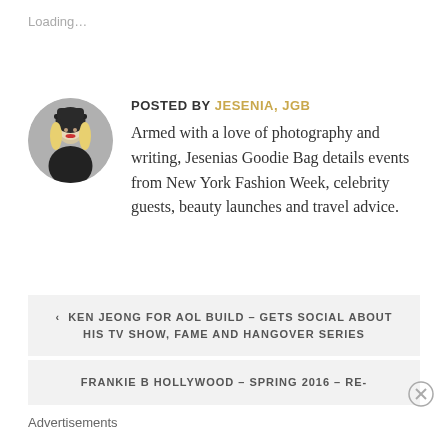Loading…
POSTED BY JESENIA, JGB
[Figure (photo): Circular avatar photo of Jesenia, a blonde woman wearing a dark hat]
Armed with a love of photography and writing, Jesenias Goodie Bag details events from New York Fashion Week, celebrity guests, beauty launches and travel advice.
‹ KEN JEONG FOR AOL BUILD – GETS SOCIAL ABOUT HIS TV SHOW, FAME AND HANGOVER SERIES
FRANKIE B HOLLYWOOD – SPRING 2016 – RE-
Advertisements